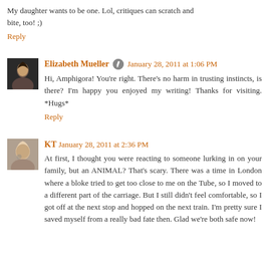My daughter wants to be one. Lol, critiques can scratch and bite, too! ;)
Reply
Elizabeth Mueller  January 28, 2011 at 1:06 PM
Hi, Amphigora! You're right. There's no harm in trusting instincts, is there? I'm happy you enjoyed my writing! Thanks for visiting. *Hugs*
Reply
KT  January 28, 2011 at 2:36 PM
At first, I thought you were reacting to someone lurking in on your family, but an ANIMAL? That's scary. There was a time in London where a bloke tried to get too close to me on the Tube, so I moved to a different part of the carriage. But I still didn't feel comfortable, so I got off at the next stop and hopped on the next train. I'm pretty sure I saved myself from a really bad fate then. Glad we're both safe now!